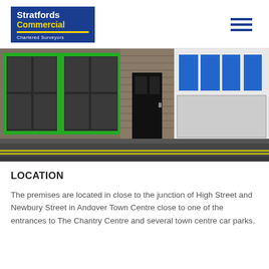Stratfords Commercial Chartered Surveyors
[Figure (photo): Street-level photo of commercial retail premises showing storefronts with green window frames, brick facade, black door entrance, and a blue-signed shop on the right, with a wet road in the foreground]
LOCATION
The premises are located in close to the junction of High Street and Newbury Street in Andover Town Centre close to one of the entrances to The Chantry Centre and several town centre car parks.